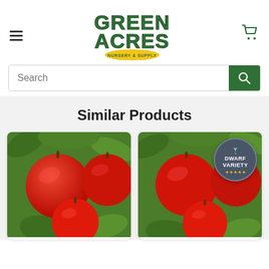Green Acres Nursery & Supply — navigation header with logo, hamburger menu, and cart icon
[Figure (screenshot): Search bar with magnifying glass button on green background]
Similar Products
[Figure (photo): Product card showing red apples on a tree with green leaves]
[Figure (photo): Product card showing red apples on a tree with 'Dwarf Variety' badge in top right corner]